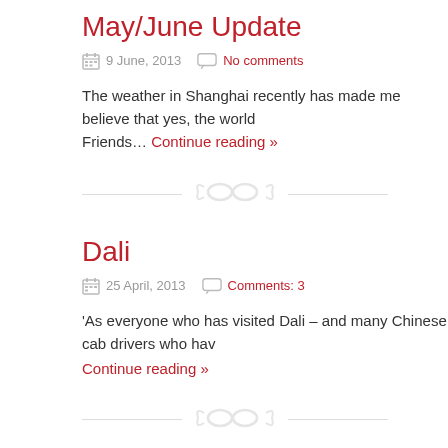May/June Update
9 June, 2013   No comments
The weather in Shanghai recently has made me believe that yes, the world... Friends... Continue reading »
[Figure (illustration): Decorative divider with swirl/chain link icon]
Dali
25 April, 2013   Comments: 3
'As everyone who has visited Dali – and many Chinese cab drivers who hav... Continue reading »
[Figure (illustration): Decorative divider with swirl/chain link icon]
Instagram – 1
17 April, 2013   No comments